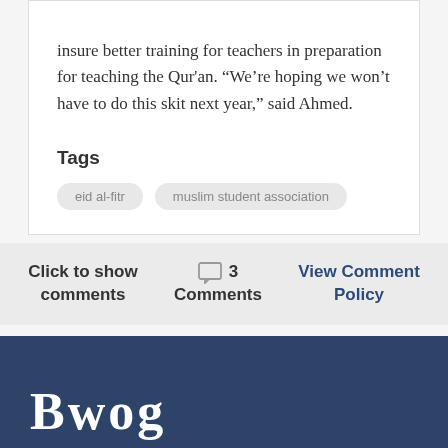insure better training for teachers in preparation for teaching the Qur'an. “We’re hoping we won’t have to do this skit next year,” said Ahmed.
Tags
eid al-fitr
muslim student association
Click to show comments
3 Comments
View Comment Policy
Bwog